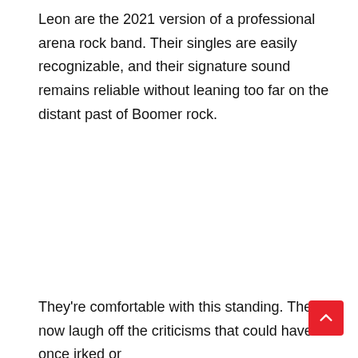Leon are the 2021 version of a professional arena rock band. Their singles are easily recognizable, and their signature sound remains reliable without leaning too far on the distant past of Boomer rock.
They're comfortable with this standing. They now laugh off the criticisms that could have once irked or